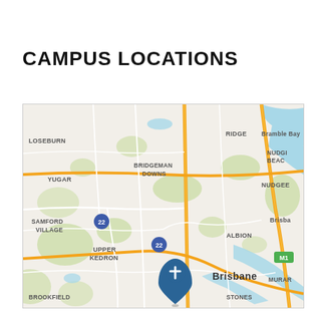CAMPUS LOCATIONS
[Figure (map): Interactive map showing Brisbane area suburbs including Loseburn, Yugar, Samford Village, Bridgeman Downs, Ridge, Bramble Bay, Nudgee Beach, Nudgee, Upper Kedron, Albion, Brisbane city, Brookfield, Stones, Murar, with a church/cross location pin marker near Upper Kedron area, and route markers labeled 22 and M1.]